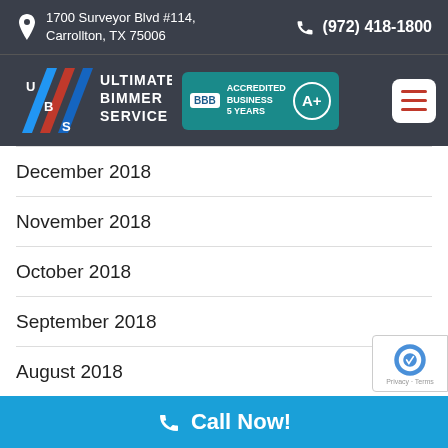1700 Surveyor Blvd #114, Carrollton, TX 75006 | (972) 418-1800
[Figure (logo): Ultimate Bimmer Service logo with BMW-style stripes, BBB Accredited Business 5 Years badge with A+ rating, and hamburger menu button]
December 2018
November 2018
October 2018
September 2018
August 2018
Call Now!